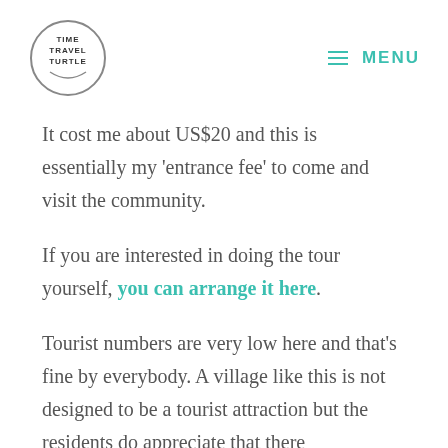Time Travel Turtle | MENU
It cost me about US$20 and this is essentially my ‘entrance fee’ to come and visit the community.
If you are interested in doing the tour yourself, you can arrange it here.
Tourist numbers are very low here and that’s fine by everybody. A village like this is not designed to be a tourist attraction but the residents do appreciate that there